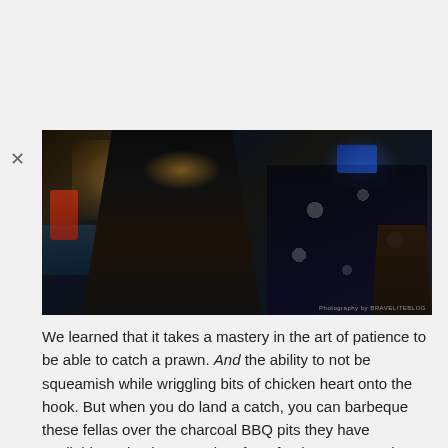[Figure (photo): Two people standing at a waterfront prawn fishing spot at night, one holding a fishing rod. Outdoor restaurant/fishing area with warm lighting in background.]
We learned that it takes a mastery in the art of patience to be able to catch a prawn. And the ability to not be squeamish while wriggling bits of chicken heart onto the hook. But when you do land a catch, you can barbeque these fellas over the charcoal BBQ pits they have available and enjoy succulent farm fresh prawns on the spot.
Address: 70 Pasir Ris Farmway 3, Singapore 518234
Opening hours: Overnight prawning available from 6PM